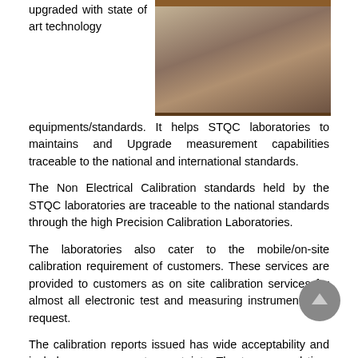upgraded with state of art technology
[Figure (photo): Photo of a laboratory interior showing wooden cabinets and equipment/instruments on shelves]
equipments/standards. It helps STQC laboratories to maintains and Upgrade measurement capabilities traceable to the national and international standards.
The Non Electrical Calibration standards held by the STQC laboratories are traceable to the national standards through the high Precision Calibration Laboratories.
The laboratories also cater to the mobile/on-site calibration requirement of customers. These services are provided to customers as on site calibration services for almost all electronic test and measuring instruments, on request.
The calibration reports issued has wide acceptability and includes measurement uncertainty. The turn around time for calibration of instruments is minimum and the calibration charges are rationalized across the STQC laboratories.